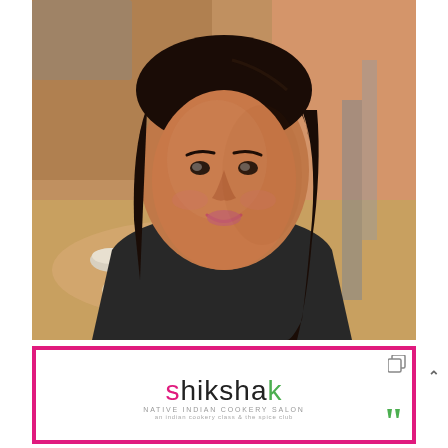[Figure (photo): A young woman with dark hair smiling in a kitchen setting, wearing a dark top with a teal strap. Kitchen items and a wooden table with plates visible in the background.]
[Figure (logo): Shikshak logo with pink and green accents, subtitle text 'NATIVE INDIAN COOKERY SALON' and additional tagline, with a green quotation mark in the bottom right corner. Pink border frame with a copy icon in the top right.]